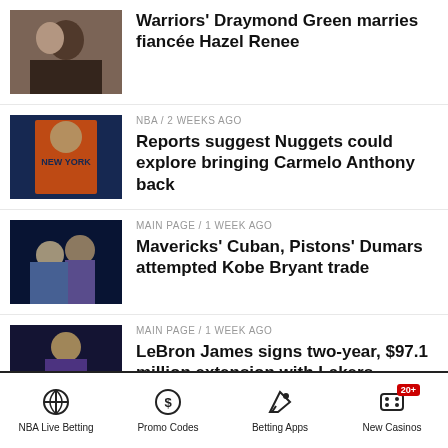[Figure (photo): Couple embracing, Warriors Draymond Green and Hazel Renee wedding photo]
Warriors' Draymond Green marries fiancée Hazel Renee
NBA / 2 weeks ago
[Figure (photo): Carmelo Anthony in New York Knicks orange jersey]
Reports suggest Nuggets could explore bringing Carmelo Anthony back
MAIN PAGE / 1 week ago
[Figure (photo): Two basketball players embracing on court, Lakers purple jersey visible]
Mavericks' Cuban, Pistons' Dumars attempted Kobe Bryant trade
MAIN PAGE / 1 week ago
[Figure (photo): LeBron James in Lakers purple jersey number 6]
LeBron James signs two-year, $97.1 million extension with Lakers
NBA Live Betting   Promo Codes   Betting Apps   New Casinos